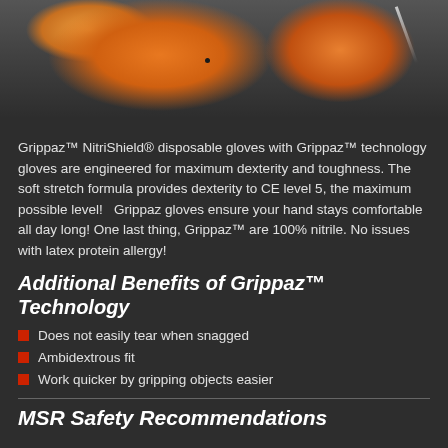[Figure (photo): Close-up photo of orange nitrile Grippaz gloves on a dark background, with a needle-like object visible]
Grippaz™ NitriShield® disposable gloves with Grippaz™ technology gloves are engineered for maximum dexterity and toughness. The soft stretch formula provides dexterity to CE level 5, the maximum possible level!  Grippaz gloves ensure your hand stays comfortable all day long! One last thing, Grippaz™ are 100% nitrile. No issues with latex protein allergy!
Additional Benefits of Grippaz™ Technology
Does not easily tear when snagged
Ambidextrous fit
Work quicker by gripping objects easier
MSR Safety Recommendations